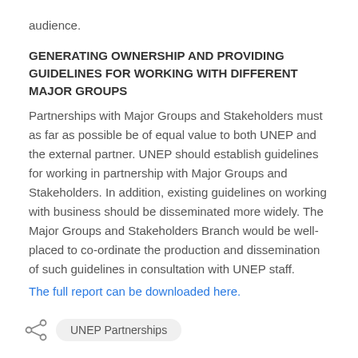audience.
GENERATING OWNERSHIP AND PROVIDING GUIDELINES FOR WORKING WITH DIFFERENT MAJOR GROUPS
Partnerships with Major Groups and Stakeholders must as far as possible be of equal value to both UNEP and the external partner. UNEP should establish guidelines for working in partnership with Major Groups and Stakeholders. In addition, existing guidelines on working with business should be disseminated more widely. The Major Groups and Stakeholders Branch would be well-placed to co-ordinate the production and dissemination of such guidelines in consultation with UNEP staff.
The full report can be downloaded here.
UNEP Partnerships